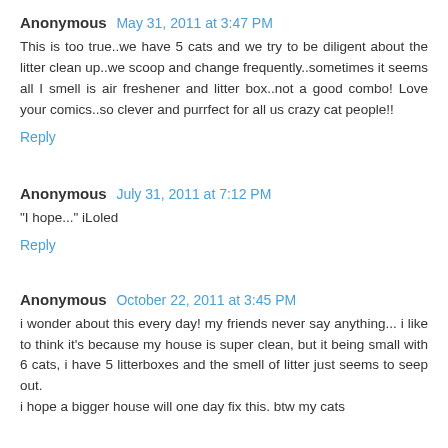Anonymous May 31, 2011 at 3:47 PM
This is too true..we have 5 cats and we try to be diligent about the litter clean up..we scoop and change frequently..sometimes it seems all I smell is air freshener and litter box..not a good combo! Love your comics..so clever and purrfect for all us crazy cat people!!
Reply
Anonymous July 31, 2011 at 7:12 PM
"I hope..." iLoled
Reply
Anonymous October 22, 2011 at 3:45 PM
i wonder about this every day! my friends never say anything... i like to think it's because my house is super clean, but it being small with 6 cats, i have 5 litterboxes and the smell of litter just seems to seep out.
i hope a bigger house will one day fix this. btw my cats